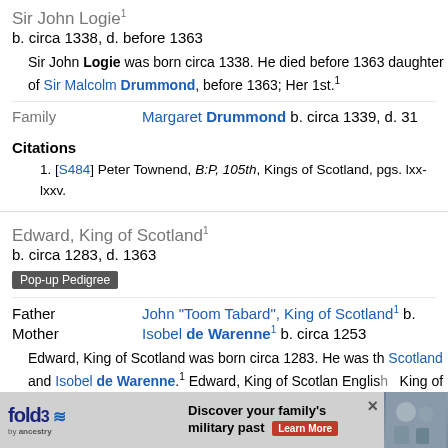Sir John Logie¹
b. circa 1338, d. before 1363
Sir John Logie was born circa 1338. He died before 1363 daughter of Sir Malcolm Drummond, before 1363; Her 1st.¹
Family   Margaret Drummond b. circa 1339, d. 31
Citations
1. [S484] Peter Townend, B:P, 105th, Kings of Scotland, pgs. lxx-lxxv.
Edward, King of Scotland¹
b. circa 1283, d. 1363
Pop-up Pedigree
Father   John "Toom Tabard", King of Scotland¹ b.
Mother   Isobel de Warenne¹ b. circa 1253
Edward, King of Scotland was born circa 1283. He was th Scotland and Isobel de Warenne.¹ Edward, King of Scotlan English  King of 16 Dec